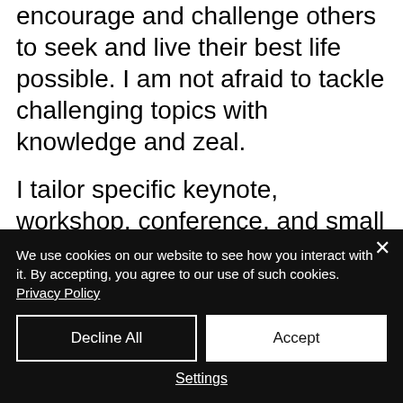encourage and challenge others to seek and live their best life possible. I am not afraid to tackle challenging topics with knowledge and zeal.
I tailor specific keynote, workshop, conference, and small group presentations to accommodate the needs of my clients. My flexibility to meet the presentation
We use cookies on our website to see how you interact with it. By accepting, you agree to our use of such cookies. Privacy Policy
Decline All
Accept
Settings